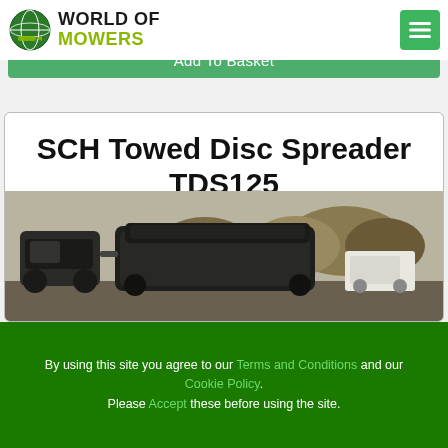[Figure (logo): World of Mowers logo with globe icon and green/black text]
Add To Basket
SCH Towed Disc Spreader TDS125
[Figure (photo): Photo of a towed disc spreader being pulled by a ride-on mower outdoors]
By using this site you agree to our Terms and Conditions and our Cookie Policy. Please Accept these before using the site.